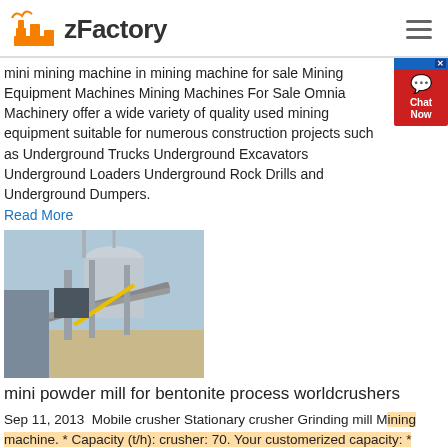zFactory
mini mining machine in mining machine for sale Mining Equipment Machines Mining Machines For Sale Omnia Machinery offer a wide variety of quality used mining equipment suitable for numerous construction projects such as Underground Trucks Underground Excavators Underground Loaders Underground Rock Drills and Underground Dumpers.
Read More
[Figure (photo): Industrial mining equipment or processing plant with conveyor systems and machinery outdoors]
mini powder mill for bentonite process worldcrushers
Sep 11, 2013  Mobile crusher Stationary crusher Grinding mill Mining machine. * Capacity (t/h): crusher: 70. Your customerized capacity: * Materials: Granite Limestone Basalt Pebble Gravel. Gypsum Marble Barite Quartz Dolomite. Gold Ore Copper ore Other: